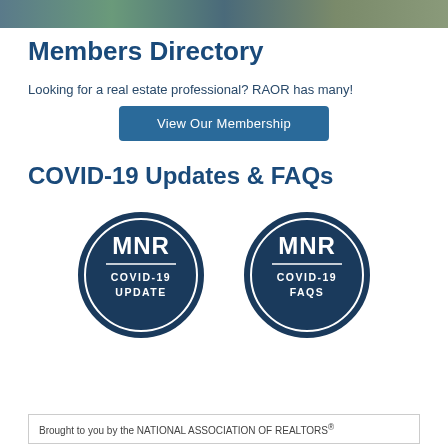[Figure (photo): Decorative photo bar at top of page showing outdoor/nature scene]
Members Directory
Looking for a real estate professional? RAOR has many!
View Our Membership
COVID-19 Updates & FAQs
[Figure (logo): Two circular navy blue badge logos side by side. Left badge: MNR COVID-19 UPDATE. Right badge: MNR COVID-19 FAQS.]
Brought to you by the NATIONAL ASSOCIATION OF REALTORS®